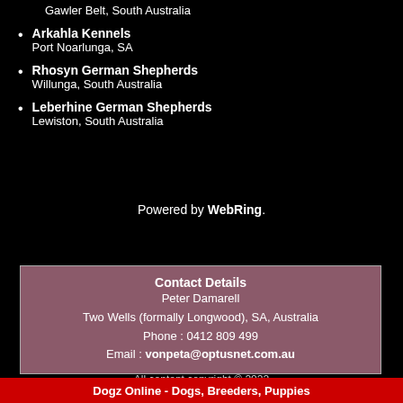Gawler Belt, South Australia
Arkahla Kennels
Port Noarlunga, SA
Rhosyn German Shepherds
Willunga, South Australia
Leberhine German Shepherds
Lewiston, South Australia
Powered by WebRing.
Contact Details
Peter Damarell
Two Wells (formally Longwood), SA, Australia
Phone : 0412 809 499
Email : vonpeta@optusnet.com.au
All content copyright © 2022
Dogz Online - Dogs, Breeders, Puppies